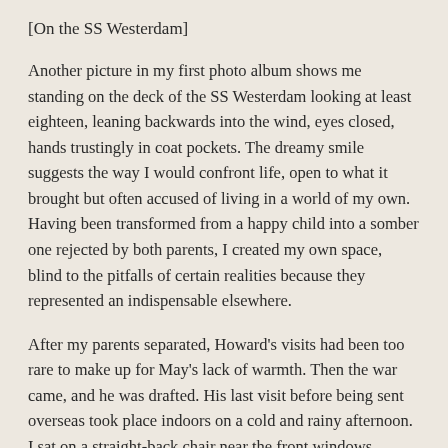[On the SS Westerdam]
Another picture in my first photo album shows me standing on the deck of the SS Westerdam looking at least eighteen, leaning backwards into the wind, eyes closed, hands trustingly in coat pockets. The dreamy smile suggests the way I would confront life, open to what it brought but often accused of living in a world of my own. Having been transformed from a happy child into a somber one rejected by both parents, I created my own space, blind to the pitfalls of certain realities because they represented an indispensable elsewhere.
After my parents separated, Howard's visits had been too rare to make up for May's lack of warmth. Then the war came, and he was drafted. His last visit before being sent overseas took place indoors on a cold and rainy afternoon. I sat on a straight-back chair near the front windows, Howard folded his 6'4" frame into my grandfather Jake's armchair, and with that gentle patience that charmed all women, taught me to knit the way his mother did, with the wool intricately wrapped around the fingers of the left hand.